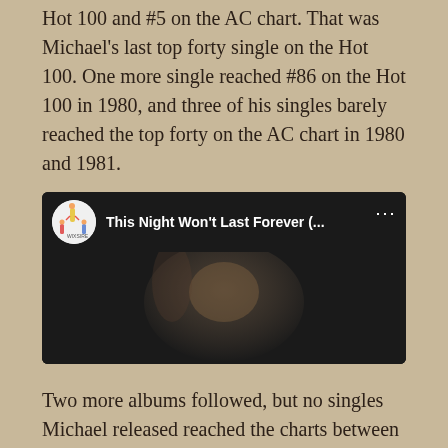Hot 100 and #5 on the AC chart. That was Michael's last top forty single on the Hot 100. One more single reached #86 on the Hot 100 in 1980, and three of his singles barely reached the top forty on the AC chart in 1980 and 1981.
[Figure (screenshot): YouTube video embed showing 'This Night Won't Last Forever (...' with a channel icon on the left, video title, three-dot menu, and a thumbnail of a person with a red YouTube play button overlay.]
Two more albums followed, but no singles Michael released reached the charts between